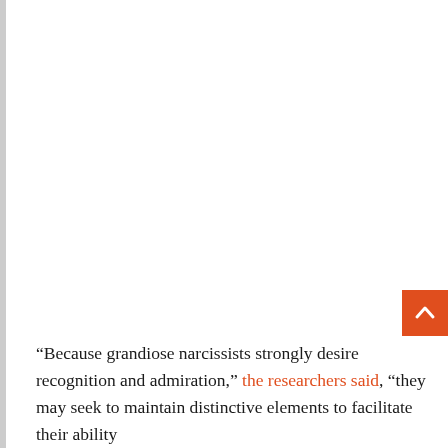“Because grandiose narcissists strongly desire recognition and admiration,” the researchers said, “they may seek to maintain distinctive elements to facilitate their ability…